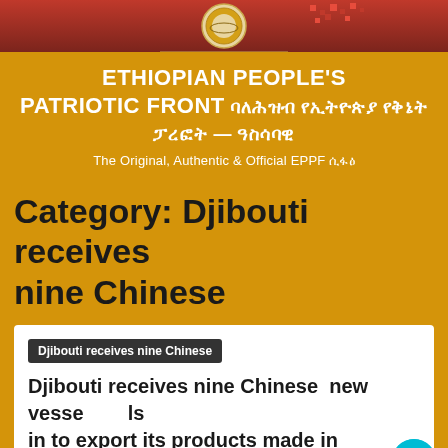[Figure (illustration): Header banner image with a circular emblem/logo on a red and dark red gradient background with decorative elements]
ETHIOPIAN PEOPLE'S PATRIOTIC FRONT ባለሥለሳብ የኢትዮጵያ የቅᆅት ፔረፎት ― ዓስሳባዊ
The Original, Authentic & Official EPPF ሴፅ፦፴
Category: Djibouti receives nine Chinese
Djibouti receives nine Chinese
Djibouti receives nine Chinese  new vessels in to export its products made in Ethiopia